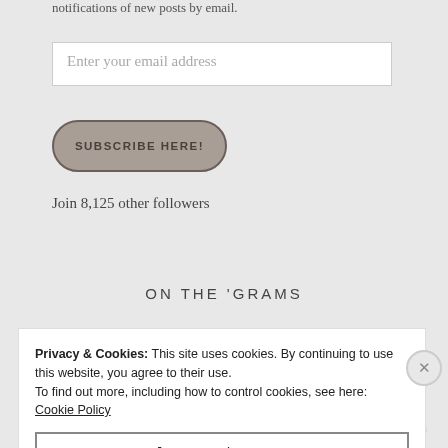notifications of new posts by email.
Enter your email address
SUBSCRIBE HERE!
Join 8,125 other followers
ON THE 'GRAMS
Privacy & Cookies: This site uses cookies. By continuing to use this website, you agree to their use.
To find out more, including how to control cookies, see here: Cookie Policy
Close and accept